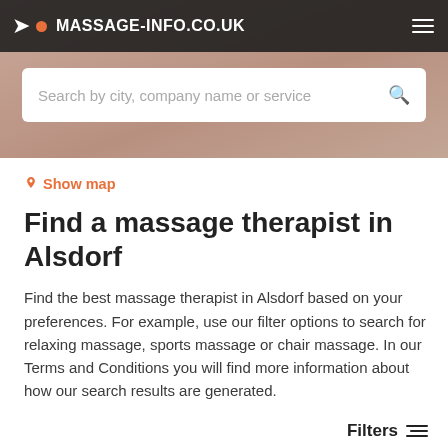MASSAGE-INFO.CO.UK
Search by city, company name or service
Show map
Find a massage therapist in Alsdorf
Find the best massage therapist in Alsdorf based on your preferences. For example, use our filter options to search for relaxing massage, sports massage or chair massage. In our Terms and Conditions you will find more information about how our search results are generated.
Filters